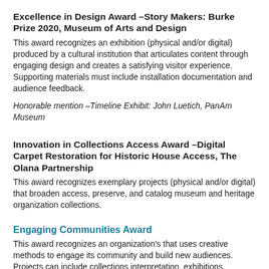Excellence in Design Award –Story Makers: Burke Prize 2020, Museum of Arts and Design
This award recognizes an exhibition (physical and/or digital) produced by a cultural institution that articulates content through engaging design and creates a satisfying visitor experience. Supporting materials must include installation documentation and audience feedback.
Honorable mention –Timeline Exhibit: John Luetich, PanAm Museum
Innovation in Collections Access Award –Digital Carpet Restoration for Historic House Access, The Olana Partnership
This award recognizes exemplary projects (physical and/or digital) that broaden access, preserve, and catalog museum and heritage organization collections.
Engaging Communities Award
This award recognizes an organization's that uses creative methods to engage its community and build new audiences. Projects can include collections interpretation, exhibitions,